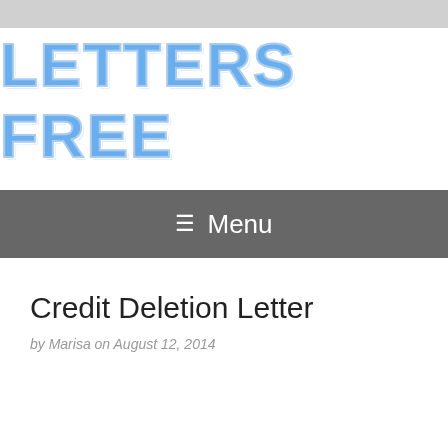[Figure (logo): LETTERS FREE website logo in bold blue text with white outline/shadow effect]
≡ Menu
Credit Deletion Letter
by Marisa on August 12, 2014